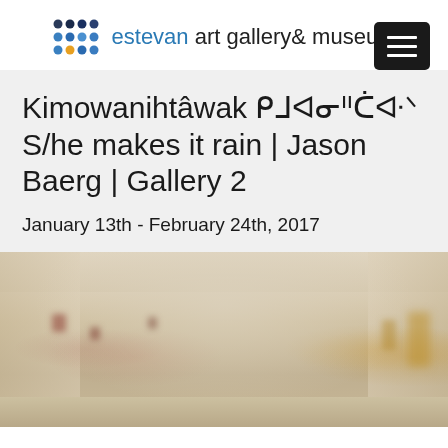[Figure (logo): Estevan Art Gallery & Museum logo with colorful dot grid and text]
Kimowanihtâwak ᑭᒧᐊᓂᐦᑖᐘᐠ S/he makes it rain | Jason Baerg | Gallery 2
January 13th - February 24th, 2017
[Figure (photo): Blurred interior view of an art gallery showing walls with small artworks hung at intervals, neutral beige/cream tones]